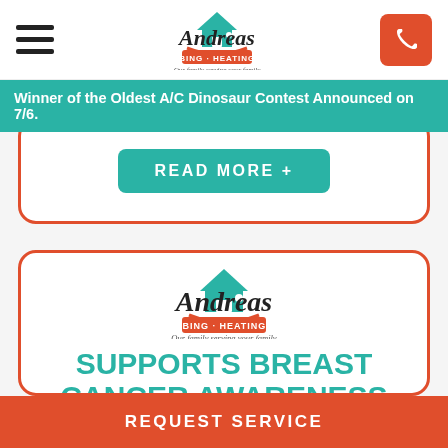[Figure (logo): Andreas Plumbing Heating Air logo with house icon and tagline 'Our family serving your family']
Winner of the Oldest A/C Dinosaur Contest Announced on 7/6.
[Figure (screenshot): READ MORE button in teal/green color]
[Figure (logo): Andreas Plumbing Heating Air logo with house icon and tagline 'Our family serving your family']
SUPPORTS BREAST CANCER AWARENESS
REQUEST SERVICE